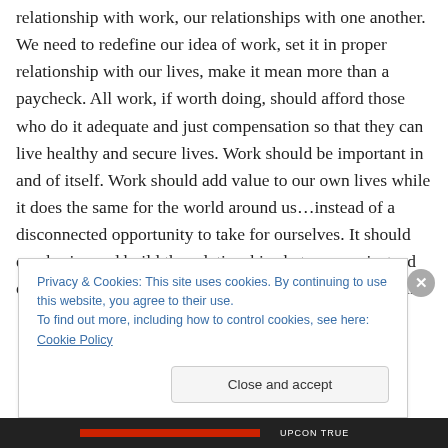relationship with work, our relationships with one another. We need to redefine our idea of work, set it in proper relationship with our lives, make it mean more than a paycheck. All work, if worth doing, should afford those who do it adequate and just compensation so that they can live healthy and secure lives. Work should be important in and of itself. Work should add value to our own lives while it does the same for the world around us…instead of a disconnected opportunity to take for ourselves. It should emphasize and build the relationships between us instead of set us against one another as it does in today's world in
Privacy & Cookies: This site uses cookies. By continuing to use this website, you agree to their use.
To find out more, including how to control cookies, see here: Cookie Policy
Close and accept